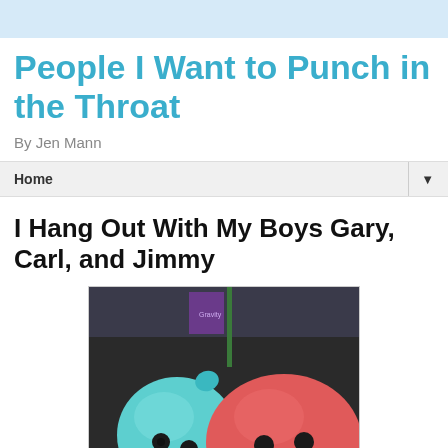People I Want to Punch in the Throat
By Jen Mann
Home ▼
I Hang Out With My Boys Gary, Carl, and Jimmy
[Figure (photo): Two stuffed animal plush toys - one teal/blue and one pink/red - sitting together, resembling cartoon characters with simple dot eyes. Background shows a car interior and store shelves with items including what appears to be a 'Gravity' label.]